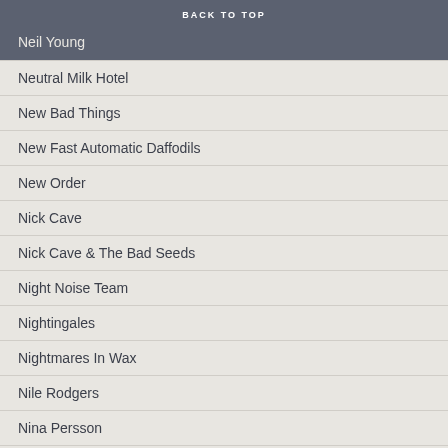BACK TO TOP
Neil Young
Neutral Milk Hotel
New Bad Things
New Fast Automatic Daffodils
New Order
Nick Cave
Nick Cave & The Bad Seeds
Night Noise Team
Nightingales
Nightmares In Wax
Nile Rodgers
Nina Persson
Nina Simone